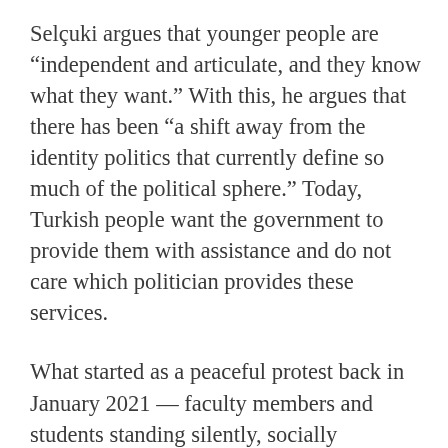Selçuki argues that younger people are “independent and articulate, and they know what they want.” With this, he argues that there has been “a shift away from the identity politics that currently define so much of the political sphere.” Today, Turkish people want the government to provide them with assistance and do not care which politician provides these services.
What started as a peaceful protest back in January 2021 — faculty members and students standing silently, socially distanced, and with their backs turned on the rector’s office —quickly turned into arrests and the use of excessive force by the